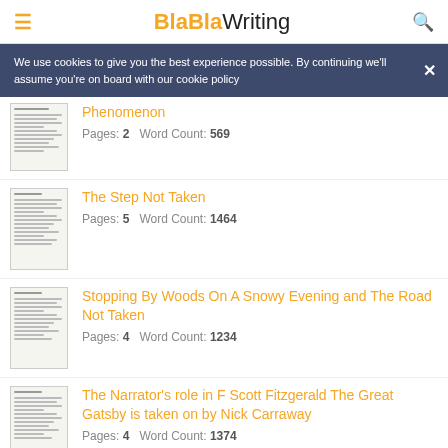BlaBlaWriting
We use cookies to give you the best experience possible. By continuing we'll assume you're on board with our cookie policy
Phenomenon
Pages: 2   Word Count: 569
The Step Not Taken
Pages: 5   Word Count: 1464
Stopping By Woods On A Snowy Evening and The Road Not Taken
Pages: 4   Word Count: 1234
The Narrator's role in F Scott Fitzgerald The Great Gatsby is taken on by Nick Carraway
Pages: 4   Word Count: 1374